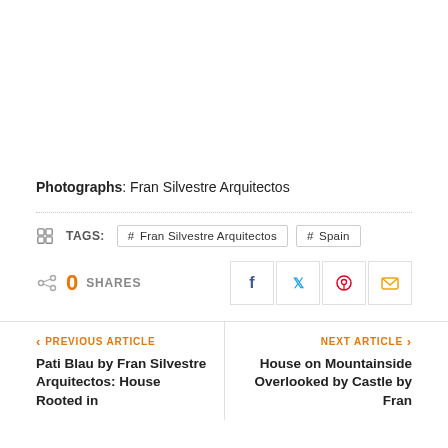Photographs: Fran Silvestre Arquitectos
TAGS:  # Fran Silvestre Arquitectos   # Spain
0  SHARES
PREVIOUS ARTICLE
Pati Blau by Fran Silvestre Arquitectos: House Rooted in
NEXT ARTICLE
House on Mountainside Overlooked by Castle by Fran